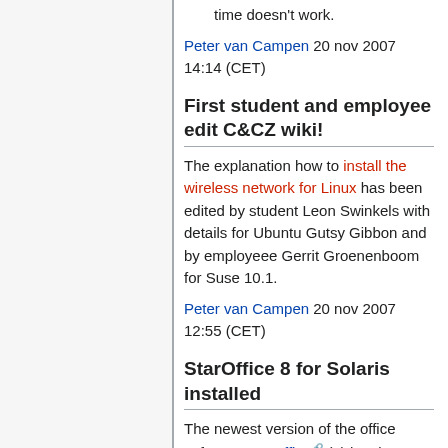time doesn't work.
Peter van Campen 20 nov 2007 14:14 (CET)
First student and employee edit C&CZ wiki!
The explanation how to install the wireless network for Linux has been edited by student Leon Swinkels with details for Ubuntu Gutsy Gibbon and by employeee Gerrit Groenenboom for Suse 10.1.
Peter van Campen 20 nov 2007 12:55 (CET)
StarOffice 8 for Solaris installed
The newest version of the office software StarOffice (8) has been installed for Solaris. Type soffice to use it.